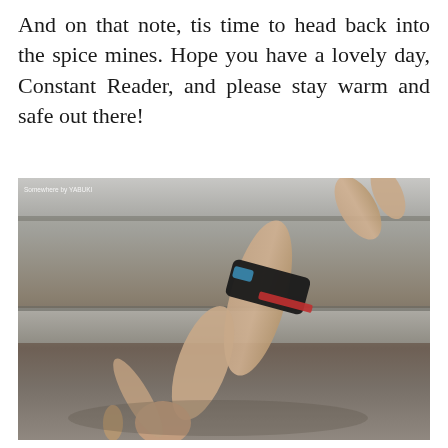And on that note, tis time to head back into the spice mines. Hope you have a lovely day, Constant Reader, and please stay warm and safe out there!
[Figure (photo): A shirtless person wearing dark swim briefs with blue and red accents, lying on concrete steps with legs raised, photographed from below, grayscale-toned photo with a small photo credit in top left corner.]